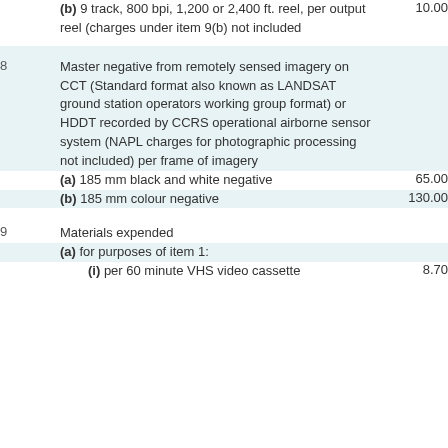| Item | Description | Price |
| --- | --- | --- |
|  | (b) 9 track, 800 bpi, 1,200 or 2,400 ft. reel, per output reel (charges under item 9(b) not included | 10.00 |
| 8 | Master negative from remotely sensed imagery on CCT (Standard format also known as LANDSAT ground station operators working group format) or HDDT recorded by CCRS operational airborne sensor system (NAPL charges for photographic processing not included) per frame of imagery |  |
|  | (a) 185 mm black and white negative | 65.00 |
|  | (b) 185 mm colour negative | 130.00 |
| 9 | Materials expended |  |
|  | (a) for purposes of item 1: |  |
|  | (i) per 60 minute VHS video cassette | 8.70 |